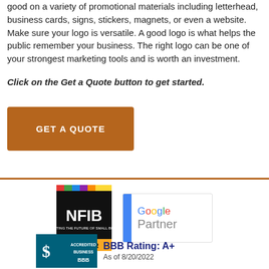good on a variety of promotional materials including letterhead, business cards, signs, stickers, magnets, or even a website. Make sure your logo is versatile. A good logo is what helps the public remember your business. The right logo can be one of your strongest marketing tools and is worth an investment.
Click on the Get a Quote button to get started.
[Figure (other): Orange/brown 'GET A QUOTE' button]
[Figure (other): Horizontal brown divider line]
[Figure (logo): NFIB Member badge - black background with colorful top strip, white NFIB text, yellow MEMBER text]
[Figure (logo): Google Partner badge - blue vertical bar on left, Google in multicolor text, Partner in gray below]
[Figure (logo): BBB Accredited Business badge with teal background]
BBB Rating: A+
As of 8/20/2022